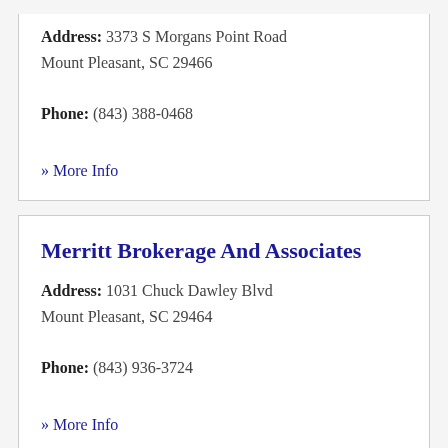Address: 3373 S Morgans Point Road
Mount Pleasant, SC 29466
Phone: (843) 388-0468
» More Info
Merritt Brokerage And Associates
Address: 1031 Chuck Dawley Blvd
Mount Pleasant, SC 29464
Phone: (843) 936-3724
» More Info
MoneyCoach
Address: 887 Johnnie Dodds Blvd Suite 215